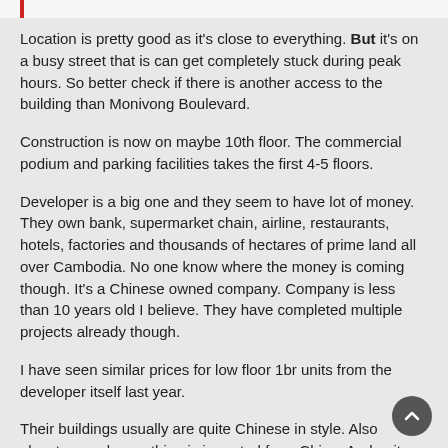Location is pretty good as it's close to everything. But it's on a busy street that is can get completely stuck during peak hours. So better check if there is another access to the building than Monivong Boulevard.
Construction is now on maybe 10th floor. The commercial podium and parking facilities takes the first 4-5 floors.
Developer is a big one and they seem to have lot of money. They own bank, supermarket chain, airline, restaurants, hotels, factories and thousands of hectares of prime land all over Cambodia. No one know where the money is coming though. It's a Chinese owned company. Company is less than 10 years old I believe. They have completed multiple projects already though.
I have seen similar prices for low floor 1br units from the developer itself last year.
Their buildings usually are quite Chinese in style. Also elevators and everything is imported from China. And units are usually quite small and layouts might not be the best.